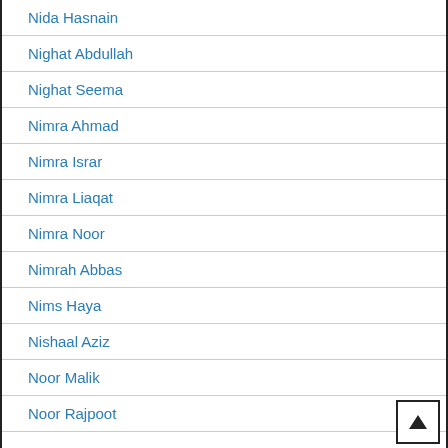Nida Hasnain
Nighat Abdullah
Nighat Seema
Nimra Ahmad
Nimra Israr
Nimra Liaqat
Nimra Noor
Nimrah Abbas
Nims Haya
Nishaal Aziz
Noor Malik
Noor Rajpoot